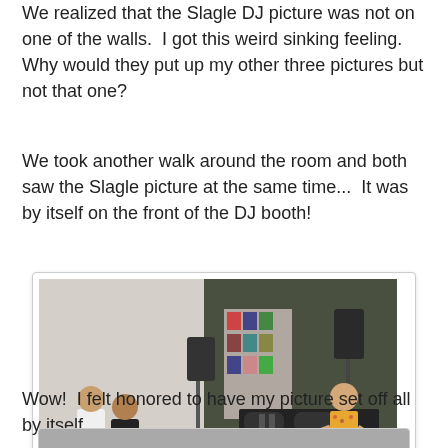We realized that the Slagle DJ picture was not on one of the walls.  I got this weird sinking feeling.  Why would they put up my other three pictures but not that one?
We took another walk around the room and both saw the Slagle picture at the same time...  It was by itself on the front of the DJ booth!
[Figure (photo): Photo of a DJ booth at an event/gallery. A person in a floral shirt is operating DJ equipment on a wooden-fronted booth. People are gathered around the left side. A small framed photo is mounted on the front center of the DJ booth. Speakers on stands visible, dark drape backdrop.]
Wow!  I felt honored to have my picture set off all by itself.
[Figure (photo): Partial photo visible at bottom of page, cropped.]